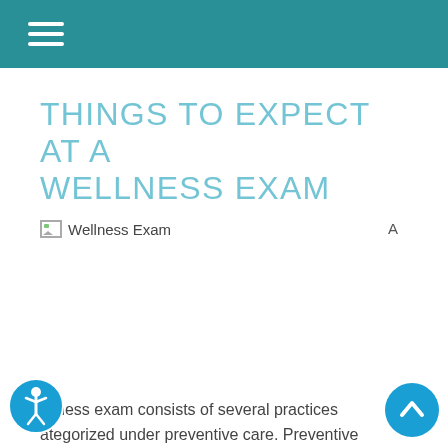THINGS TO EXPECT AT A WELLNESS EXAM
[Figure (photo): Wellness Exam image (broken/loading) with label 'Wellness Exam' and font size control 'A']
ellness exam consists of several practices ategorized under preventive care. Preventive